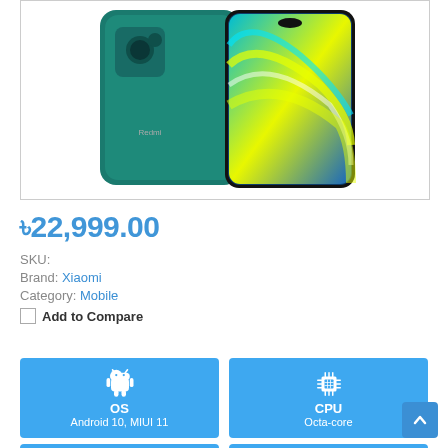[Figure (photo): Product photo of Xiaomi Redmi Note 9S smartphone shown from the back (teal/green color with Redmi logo) and front (colorful abstract wallpaper on screen)]
৳22,999.00
SKU:
Brand: Xiaomi
Category: Mobile
Add to Compare
[Figure (infographic): Blue card showing Android robot icon, label OS, value Android 10, MIUI 11]
[Figure (infographic): Blue card showing CPU chip icon, label CPU, value Octa-core]